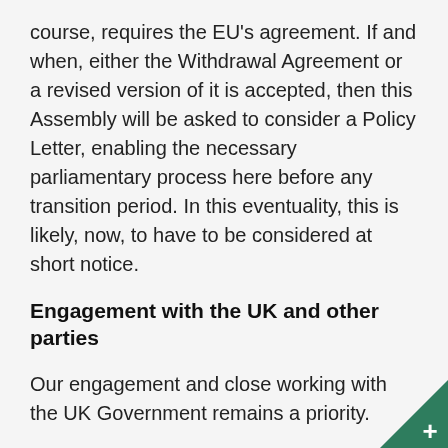course, requires the EU's agreement. If and when, either the Withdrawal Agreement or a revised version of it is accepted, then this Assembly will be asked to consider a Policy Letter, enabling the necessary parliamentary process here before any transition period. In this eventuality, this is likely, now, to have to be considered at short notice.
Engagement with the UK and other parties
Our engagement and close working with the UK Government remains a priority.
I wrote to the UK Prime Minister in September, and her response in October reiterated assurances that the long-standing constitutional relationships between the UK and the Crown